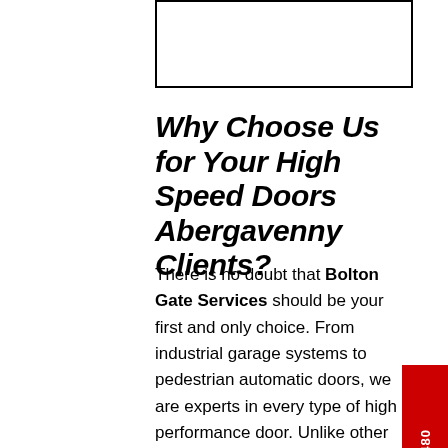[Figure (other): Empty rectangular box/placeholder image area]
Why Choose Us for Your High Speed Doors Abergavenny Clients?
There is no doubt that Bolton Gate Services should be your first and only choice. From industrial garage systems to pedestrian automatic doors, we are experts in every type of high performance door. Unlike other companies that you may have come across, we provide bespoke maintenance and servicing plans as well as tailored installations.
24/7 08085 015480